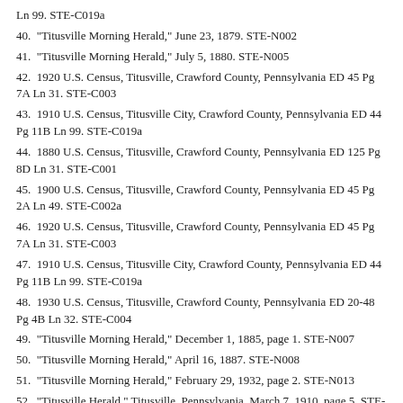Ln 99. STE-C019a
40.  "Titusville Morning Herald," June 23, 1879. STE-N002
41.  "Titusville Morning Herald," July 5, 1880. STE-N005
42.  1920 U.S. Census, Titusville, Crawford County, Pennsylvania ED 45 Pg 7A Ln 31. STE-C003
43.  1910 U.S. Census, Titusville City, Crawford County, Pennsylvania ED 44 Pg 11B Ln 99. STE-C019a
44.  1880 U.S. Census, Titusville, Crawford County, Pennsylvania ED 125 Pg 8D Ln 31. STE-C001
45.  1900 U.S. Census, Titusville, Crawford County, Pennsylvania ED 45 Pg 2A Ln 49. STE-C002a
46.  1920 U.S. Census, Titusville, Crawford County, Pennsylvania ED 45 Pg 7A Ln 31. STE-C003
47.  1910 U.S. Census, Titusville City, Crawford County, Pennsylvania ED 44 Pg 11B Ln 99. STE-C019a
48.  1930 U.S. Census, Titusville, Crawford County, Pennsylvania ED 20-48 Pg 4B Ln 32. STE-C004
49.  "Titusville Morning Herald," December 1, 1885, page 1. STE-N007
50.  "Titusville Morning Herald," April 16, 1887. STE-N008
51.  "Titusville Morning Herald," February 29, 1932, page 2. STE-N013
52.  "Titusville Herald," Titusville, Pennsylvania, March 7, 1910, page 5. STE-N051